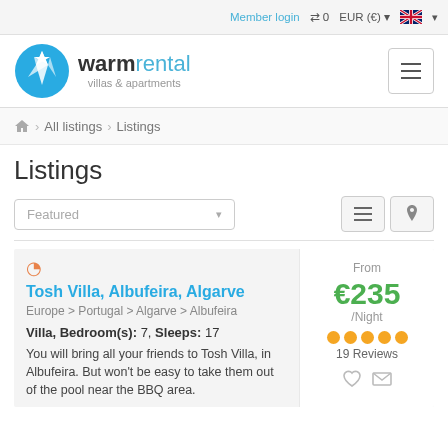Member login  ⇌0  EUR (€) ▼  🇬🇧 ▼
[Figure (logo): Warmrental villas & apartments logo with blue star icon]
🏠 > All listings > Listings
Listings
Featured ▼
Tosh Villa, Albufeira, Algarve
Europe > Portugal > Algarve > Albufeira
Villa, Bedroom(s): 7, Sleeps: 17
You will bring all your friends to Tosh Villa, in Albufeira. But won't be easy to take them out of the pool near the BBQ area.
From €235 /Night 19 Reviews